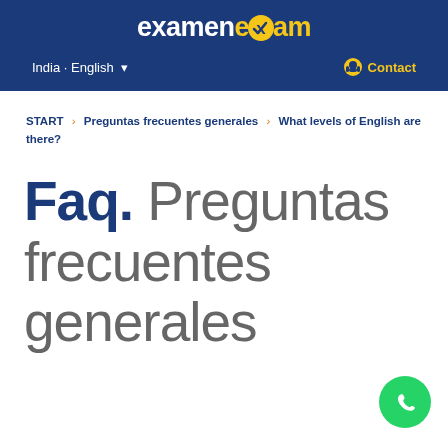examenexam
India · English ▾   Contact
START > Preguntas frecuentes generales > What levels of English are there?
Faq. Preguntas frecuentes generales
[Figure (logo): WhatsApp contact button - green circle with white phone handset icon]